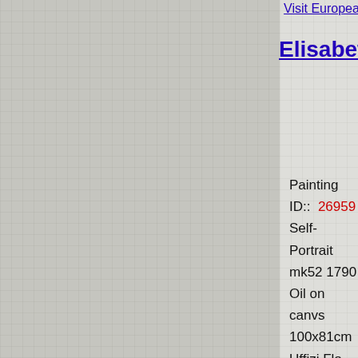Visit European Galler...
Elisabeth-Louise Vigee...
Painting ID::  26959
Self-Portrait
mk52 1790 Oil on canvs 100x81cm Uffizi,Flo...
[Figure (other): Yellow 'NEED SPECIAL SIZE' button with shopping cart icon on dark blue circle]
[Figure (other): Partial view of a store/gallery button at bottom right]